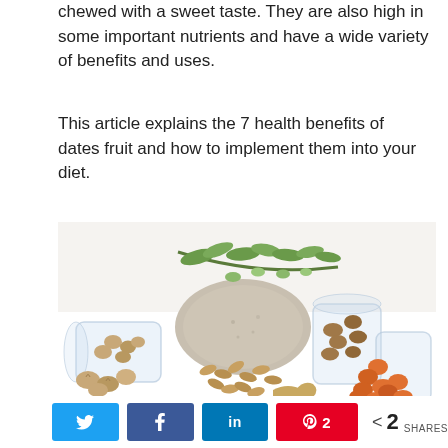chewed with a sweet taste. They are also high in some important nutrients and have a wide variety of benefits and uses.
This article explains the 7 health benefits of dates fruit and how to implement them into your diet.
[Figure (photo): Assorted nuts, dried fruits, almonds, and green plant sprigs arranged on a white background with glass jars]
[Figure (infographic): Social sharing bar with Twitter, Facebook, LinkedIn, Pinterest buttons and a share count of 2]